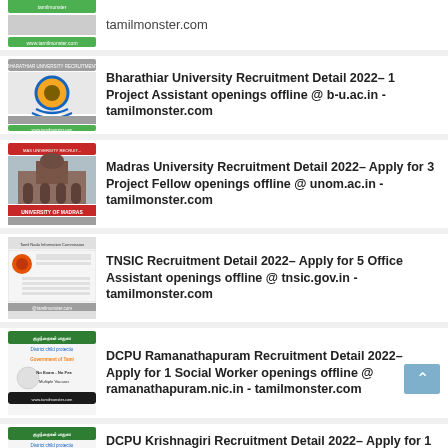tamilmonster.com
Bharathiar University Recruitment Detail 2022– 1 Project Assistant openings offline @ b-u.ac.in - tamilmonster.com
Madras University Recruitment Detail 2022– Apply for 3 Project Fellow openings offline @ unom.ac.in - tamilmonster.com
TNSIC Recruitment Detail 2022– Apply for 5 Office Assistant openings offline @ tnsic.gov.in - tamilmonster.com
DCPU Ramanathapuram Recruitment Detail 2022– Apply for 1 Social Worker openings offline @ ramanathapuram.nic.in - tamilmonster.com
DCPU Krishnagiri Recruitment Detail 2022– Apply for 1 Outreach Worker openings offline @